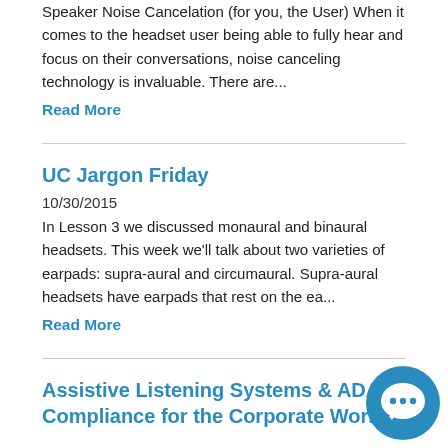Speaker Noise Cancelation (for you, the User) When it comes to the headset user being able to fully hear and focus on their conversations, noise canceling technology is invaluable. There are...
Read More
UC Jargon Friday
10/30/2015
In Lesson 3 we discussed monaural and binaural headsets. This week we'll talk about two varieties of earpads: supra-aural and circumaural. Supra-aural headsets have earpads that rest on the ea...
Read More
Assistive Listening Systems & ADA Compliance for the Corporate World
[Figure (illustration): Blue circular chat bubble icon with three dots, positioned bottom-right corner]